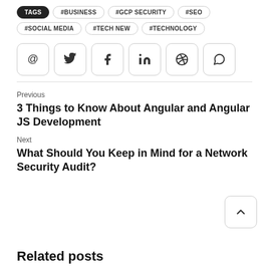TAGS #BUSINESS #GCP SECURITY #SEO #SOCIAL MEDIA #TECH NEW #TECHNOLOGY
[Figure (infographic): Social sharing icon buttons: @, Twitter, Facebook, LinkedIn, Pinterest, WhatsApp]
Previous
3 Things to Know About Angular and Angular JS Development
Next
What Should You Keep in Mind for a Network Security Audit?
Related posts